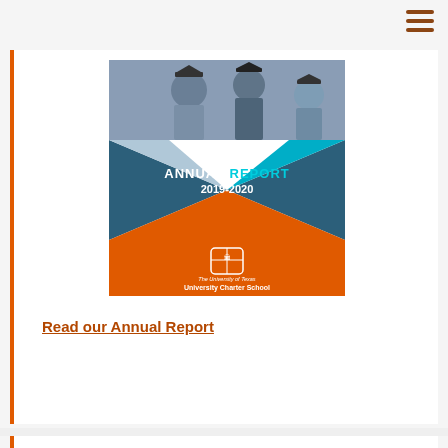[Figure (illustration): Annual Report 2019-2020 cover for The University of Texas University Charter School, featuring geometric diamond shapes in blue, teal, orange colors with photo of graduates at top]
Read our Annual Report